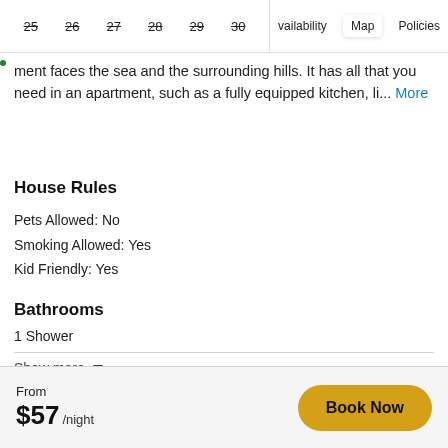25  26  27  28  29  30  |  Availability  Map  Policies
...ment faces the sea and the surrounding hills. It has all that you need in an apartment, such as a fully equipped kitchen, li... More
House Rules
Pets Allowed: No
Smoking Allowed: Yes
Kid Friendly: Yes
Bathrooms
1 Shower
Show more ▾
From $57 /night   Book Now